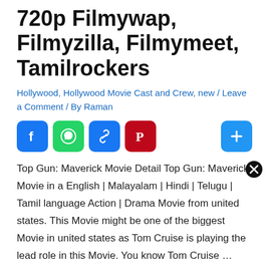720p Filmywap, Filmyzilla, Filmymeet, Tamilrockers
Hollywood, Hollywood Movie Cast and Crew, new / Leave a Comment / By Raman
[Figure (infographic): Social share buttons row: Facebook (blue), WhatsApp (green), Copy Link (blue), Pinterest (dark red), and More (blue plus icon)]
Top Gun: Maverick Movie Detail Top Gun: Maverick Movie in a English | Malayalam | Hindi | Telugu | Tamil language Action | Drama Movie from united states. This Movie might be one of the biggest Movie in united states as Tom Cruise is playing the lead role in this Movie. You know Tom Cruise …
Read More »
[Figure (infographic): Social share buttons row (second): Facebook (blue), WhatsApp (green), Copy Link (blue), Pinterest (dark red), and More (blue plus icon)]